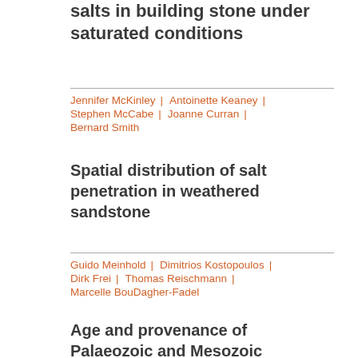salts in building stone under saturated conditions
Jennifer McKinley | Antoinette Keaney | Stephen McCabe | Joanne Curran | Bernard Smith
Spatial distribution of salt penetration in weathered sandstone
Guido Meinhold | Dimitrios Kostopoulos | Dirk Frei | Thomas Reischmann | Marcelle BouDagher-Fadel
Age and provenance of Palaeozoic and Mesozoic sediments from Northern Greece: